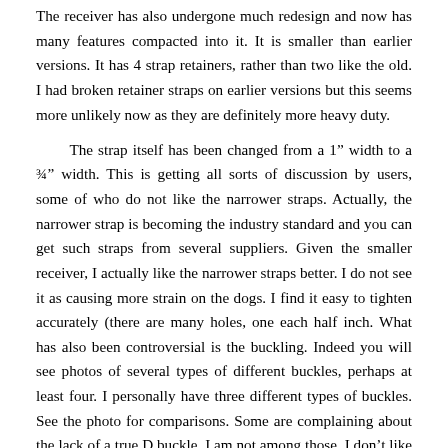The receiver has also undergone much redesign and now has many features compacted into it. It is smaller than earlier versions. It has 4 strap retainers, rather than two like the old. I had broken retainer straps on earlier versions but this seems more unlikely now as they are definitely more heavy duty.

The strap itself has been changed from a 1" width to a ¾" width. This is getting all sorts of discussion by users, some of who do not like the narrower straps. Actually, the narrower strap is becoming the industry standard and you can get such straps from several suppliers. Given the smaller receiver, I actually like the narrower straps better. I do not see it as causing more strain on the dogs. I find it easy to tighten accurately (there are many holes, one each half inch. What has also been controversial is the buckling. Indeed you will see photos of several types of different buckles, perhaps at least four. I personally have three different types of buckles. See the photo for comparisons. Some are complaining about the lack of a true D buckle. I am not among those. I don't like to attach a tab or a lead to an e-collar because of the prongs. On tie-outs, that is how I broke off the strap retainer tabs. Thus, I use another collar or loop the chain with a snap. If walking with a lead, I use the lead or a choke chain and never hook up to a D ring. In fact, I dislike the i...